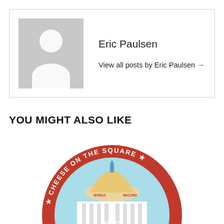[Figure (illustration): Author avatar placeholder with grey background showing a white silhouette of a person (head and shoulders)]
Eric Paulsen
View all posts by Eric Paulsen →
YOU MIGHT ALSO LIKE
[Figure (logo): Circular badge/logo reading 'CHEESE ON THE SQUARE' with 'WORLD RECORD' text, featuring an illustration of a capitol building and text 'I SAW THE World's Largest CHEESEBOARD']